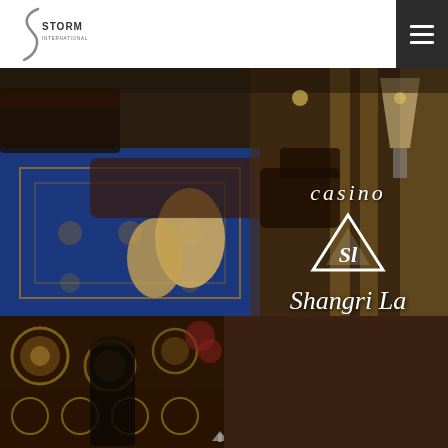[Figure (logo): Storm International logo with S-curved lightning bolt and text STORM INTERNATIONAL]
[Figure (photo): Casino interior with blue ornate carpet, leather chairs, and elegant lounge furniture]
[Figure (logo): Casino Shangri La Tbilisi logo overlay with mountain/SL emblem, text: casino, Shangri La, Tbilisi]
[Figure (photo): Casino gaming floor with ornate pillars, tables, and players from overhead view]
[Figure (photo): Casino interior with elaborate decorative walls and ornamental details]